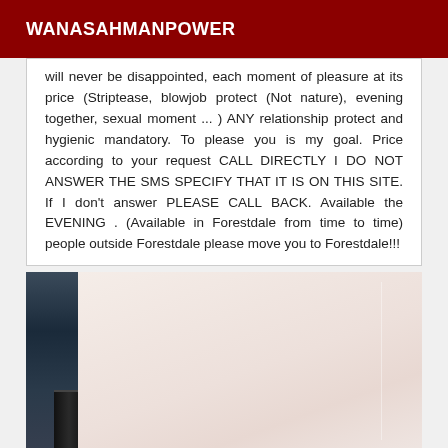WANASAHMANPOWER
will never be disappointed, each moment of pleasure at its price (Striptease, blowjob protect (Not nature), evening together, sexual moment ... ) ANY relationship protect and hygienic mandatory. To please you is my goal. Price according to your request CALL DIRECTLY I DO NOT ANSWER THE SMS SPECIFY THAT IT IS ON THIS SITE. If I don't answer PLEASE CALL BACK. Available the EVENING . (Available in Forestdale from time to time) people outside Forestdale please move you to Forestdale!!!
[Figure (photo): Close-up photo showing skin and dark fabric/lace against a light background]